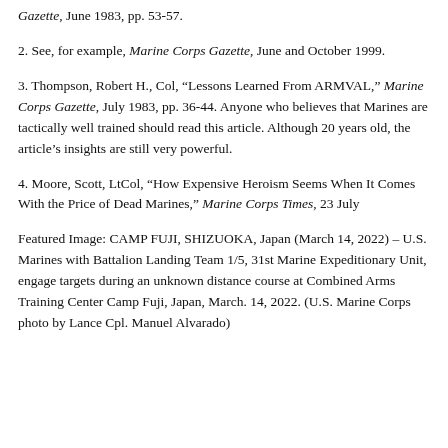Gazette, June 1983, pp. 53-57.
2. See, for example, Marine Corps Gazette, June and October 1999.
3. Thompson, Robert H., Col, “Lessons Learned From ARMVAL,” Marine Corps Gazette, July 1983, pp. 36-44. Anyone who believes that Marines are tactically well trained should read this article. Although 20 years old, the article’s insights are still very powerful.
4. Moore, Scott, LtCol, “How Expensive Heroism Seems When It Comes With the Price of Dead Marines,” Marine Corps Times, 23 July
Featured Image: CAMP FUJI, SHIZUOKA, Japan (March 14, 2022) – U.S. Marines with Battalion Landing Team 1/5, 31st Marine Expeditionary Unit, engage targets during an unknown distance course at Combined Arms Training Center Camp Fuji, Japan, March. 14, 2022. (U.S. Marine Corps photo by Lance Cpl. Manuel Alvarado)